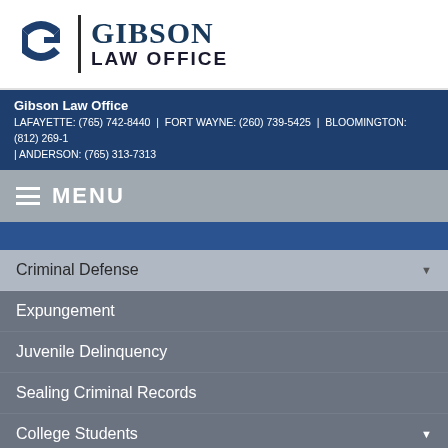[Figure (logo): Gibson Law Office logo with stylized G letterform in dark blue and firm name]
Gibson Law Office
LAFAYETTE: (765) 742-8440 | FORT WAYNE: (260) 739-5425 | BLOOMINGTON: (812) 269-1 | ANDERSON: (765) 313-7313
MENU
Criminal Defense
Expungement
Juvenile Delinquency
Sealing Criminal Records
College Students
Habitual Traffic Violators
Specialized Driving Privilege